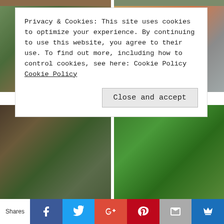[Figure (photo): Top strip of food images, partially cropped]
[Figure (photo): Middle left food photo showing dish with greens]
[Figure (photo): Middle right food photo showing orange drink/sauce]
Privacy & Cookies: This site uses cookies to optimize your experience. By continuing to use this website, you agree to their use. To find out more, including how to control cookies, see here: Cookie Policy Cookie Policy
[Figure (photo): Bottom left: bowl of pho soup with herbs, noodles, lime]
[Figure (photo): Bottom right: roasted broccolini on white plate]
Shares